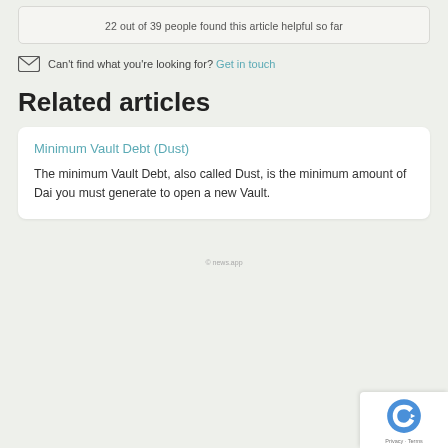22 out of 39 people found this article helpful so far
Can't find what you're looking for? Get in touch
Related articles
Minimum Vault Debt (Dust)
The minimum Vault Debt, also called Dust, is the minimum amount of Dai you must generate to open a new Vault.
© news.app